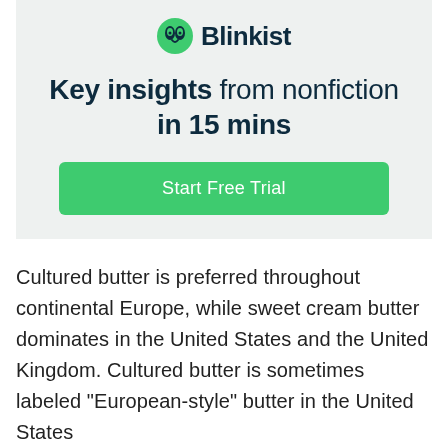[Figure (logo): Blinkist logo: green circle icon with a drop/eye shape and the word Blinkist in dark navy bold text]
Key insights from nonfiction in 15 mins
Start Free Trial
Cultured butter is preferred throughout continental Europe, while sweet cream butter dominates in the United States and the United Kingdom. Cultured butter is sometimes labeled "European-style" butter in the United States